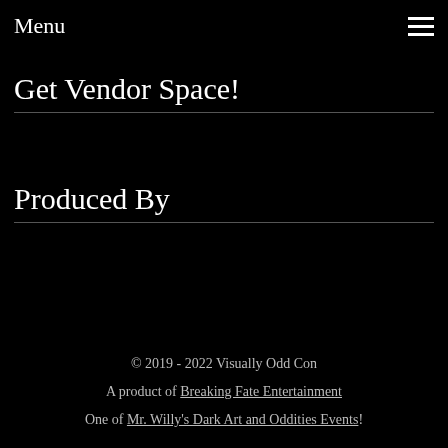Menu
Get Vendor Space!
Produced By
© 2019 - 2022 Visually Odd Con
A product of Breaking Fate Entertainment
One of Mr. Willy's Dark Art and Oddities Events!